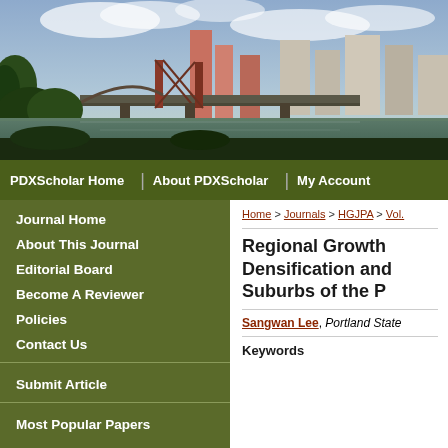[Figure (photo): Portland Oregon city skyline with bridge over river and cloudy sky]
PDXScholar Home | About PDXScholar | My Account
Journal Home
About This Journal
Editorial Board
Become A Reviewer
Policies
Contact Us
Submit Article
Most Popular Papers
Home > Journals > HGJPA > Vol.
Regional Growth Densification and Suburbs of the P
Sangwan Lee, Portland State
Keywords